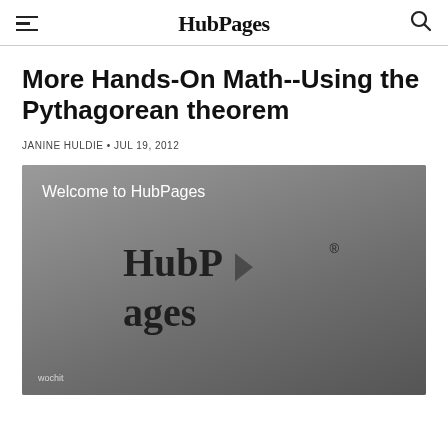HubPages
More Hands-On Math--Using the Pythagorean theorem
JANINE HULDIE • JUL 19, 2012
[Figure (screenshot): HubPages welcome video thumbnail showing the HubPages logo with a play button in the center, 'Welcome to HubPages' text in the upper left, and 'wochit' watermark at the bottom left. Gray background.]